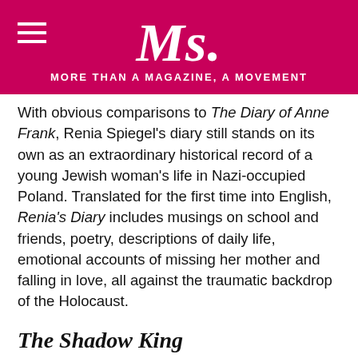Ms. MORE THAN A MAGAZINE, A MOVEMENT
With obvious comparisons to The Diary of Anne Frank, Renia Spiegel's diary still stands on its own as an extraordinary historical record of a young Jewish woman's life in Nazi-occupied Poland. Translated for the first time into English, Renia's Diary includes musings on school and friends, poetry, descriptions of daily life, emotional accounts of missing her mother and falling in love, all against the traumatic backdrop of the Holocaust.
The Shadow King
By Maaza Mengiste (@MaazaMengiste). W. W. Norton & Company. 448 pages. Out September 24.